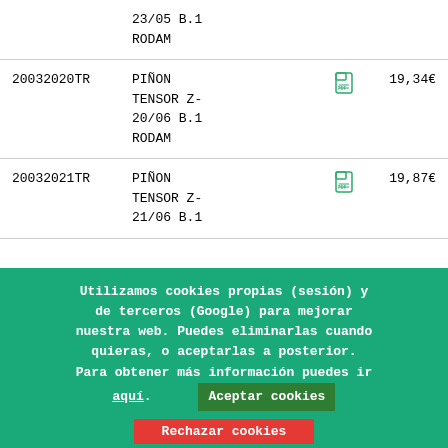| Code | Name |  | Price |
| --- | --- | --- | --- |
|  | 23/05 B.1
RODAM |  |  |
| 20032020TR | PIÑON TENSOR Z-
20/06 B.1
RODAM | [pdf] | 19,34€ |
| 20032021TR | PIÑON TENSOR Z-
21/06 B.1 | [pdf] | 19,87€ |
Utilizamos cookies propias (sesión) y de terceros (Google) para mejorar nuestra web. Puedes eliminarlas cuando quieras, o aceptarlas a posterior. Para obtener más información puedes ir aquí. Aceptar cookies Rechazar cookies